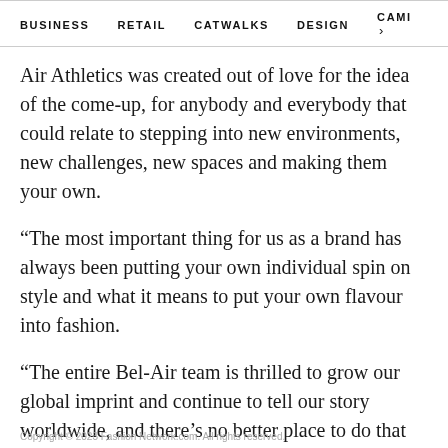BUSINESS   RETAIL   CATWALKS   DESIGN   CAMI >
Air Athletics was created out of love for the idea of the come-up, for anybody and everybody that could relate to stepping into new environments, new challenges, new spaces and making them your own.
“The most important thing for us as a brand has always been putting your own individual spin on style and what it means to put your own flavour into fashion.
“The entire Bel-Air team is thrilled to grow our global imprint and continue to tell our story worldwide, and there’s no better place to do that than within Selfridges stores.”
Copyright © 2023 Fashion Network.com. All rights reserved.